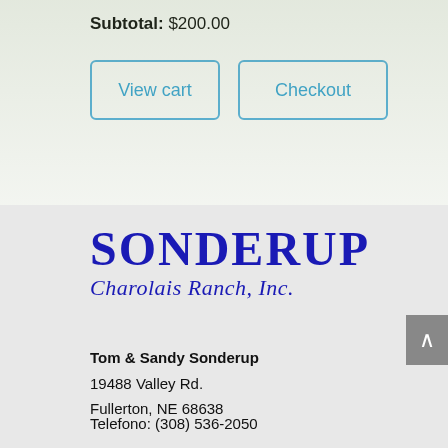Subtotal: $200.00
View cart
Checkout
[Figure (logo): Sonderup Charolais Ranch, Inc. logo with bold uppercase SONDERUP text in navy blue and italic subtitle]
Tom & Sandy Sonderup
19488 Valley Rd.
Fullerton, NE 68638
Telefono: (308) 536-2050